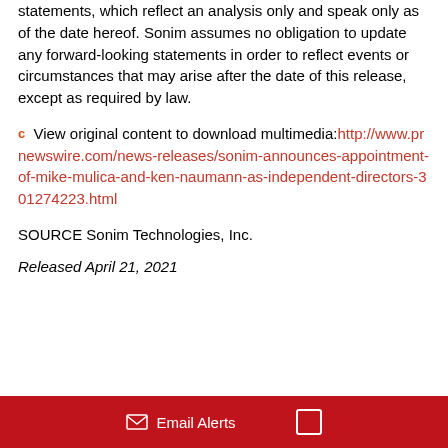statements, which reflect an analysis only and speak only as of the date hereof. Sonim assumes no obligation to update any forward-looking statements in order to reflect events or circumstances that may arise after the date of this release, except as required by law.
View original content to download multimedia: http://www.prnewswire.com/news-releases/sonim-announces-appointment-of-mike-mulica-and-ken-naumann-as-independent-directors-301274223.html
SOURCE Sonim Technologies, Inc.
Released April 21, 2021
Email Alerts